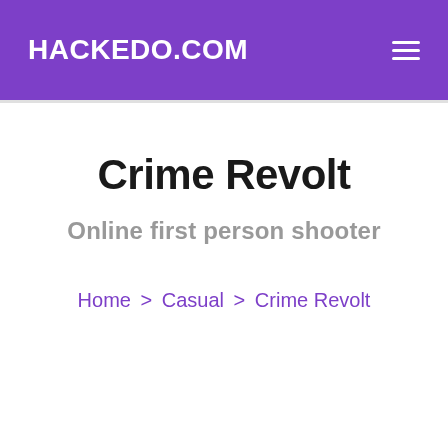HACKEDO.COM
Crime Revolt
Online first person shooter
Home > Casual > Crime Revolt